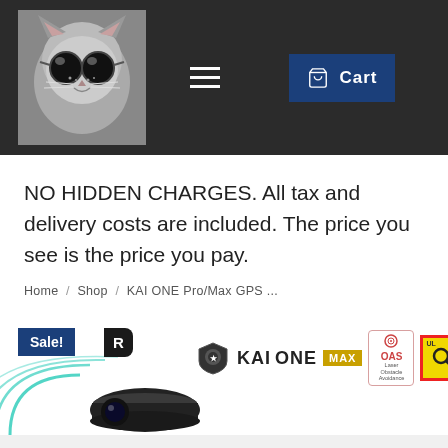[Figure (screenshot): E-commerce website header with dark background, cat with sunglasses logo, hamburger menu, and Cart button]
NO HIDDEN CHARGES. All tax and delivery costs are included. The price you see is the price you pay.
Home / Shop / KAI ONE Pro/Max GPS ...
[Figure (screenshot): Product listing area showing Sale! badge, R badge, KAI ONE MAX logo with shield icon, OAS Laser Obstacle Avoidance badge, search/certification badge, and partial product image with teal circular design elements]